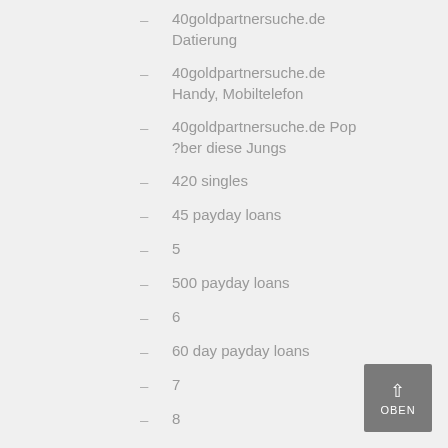– 40goldpartnersuche.de Datierung
– 40goldpartnersuche.de Handy, Mobiltelefon
– 40goldpartnersuche.de Pop ?ber diese Jungs
– 420 singles
– 45 payday loans
– 5
– 500 payday loans
– 6
– 60 day payday loans
– 7
– 8
– 9